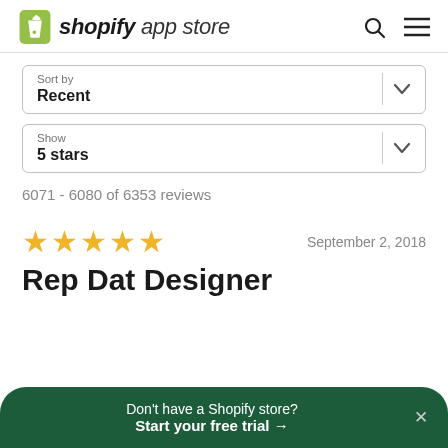shopify app store
Sort by
Recent
Show
5 stars
6071 - 6080 of 6353 reviews
★★★★★  September 2, 2018
Rep Dat Designer
Don't have a Shopify store? Start your free trial →